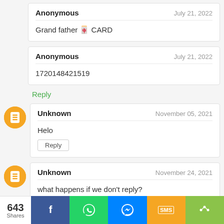Anonymous — July 21, 2022
Grand father 🎴 CARD
Anonymous — July 21, 2022
1720148421519
Reply
Unknown — November 05, 2021
Helo
Unknown — November 24, 2021
what happens if we don't reply?
643 Shares